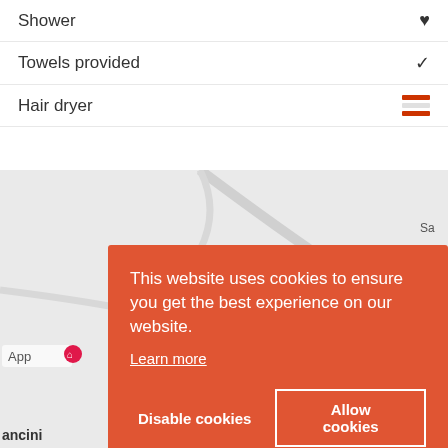Shower ✓
Towels provided ✓
Hair dryer [flag icon]
[Figure (map): A map section showing streets with pink markers for Renáta & Robert and KNJIGOVODSTVENI, and a label KUĆ APART in top right]
This website uses cookies to ensure you get the best experience on our website.
Learn more
Disable cookies
Allow cookies